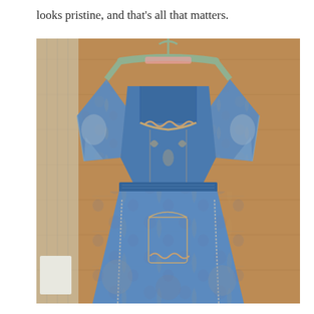looks pristine, and that's all that matters.
[Figure (photo): A blue patterned dress with short flutter sleeves and a gathered waist hanging on a plastic hanger against a wooden door. The fabric features an ornate baroque or toile-style print in blue, white, and brown tones with decorative figures and architectural motifs.]